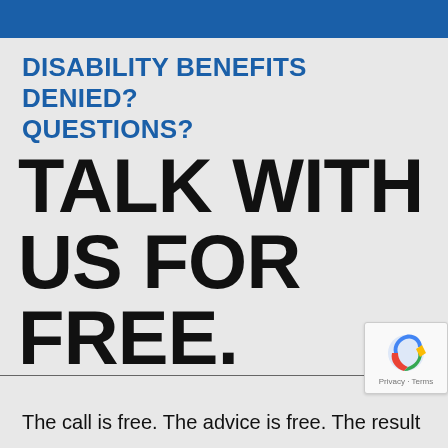DISABILITY BENEFITS DENIED? QUESTIONS?
TALK WITH US FOR FREE.
The call is free. The advice is free. The result